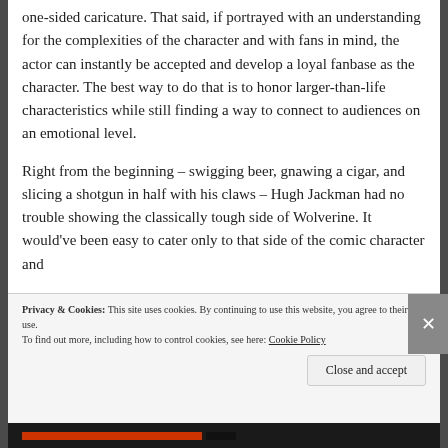one-sided caricature. That said, if portrayed with an understanding for the complexities of the character and with fans in mind, the actor can instantly be accepted and develop a loyal fanbase as the character. The best way to do that is to honor larger-than-life characteristics while still finding a way to connect to audiences on an emotional level.
Right from the beginning – swigging beer, gnawing a cigar, and slicing a shotgun in half with his claws – Hugh Jackman had no trouble showing the classically tough side of Wolverine. It would've been easy to cater only to that side of the comic character and
Privacy & Cookies: This site uses cookies. By continuing to use this website, you agree to their use.
To find out more, including how to control cookies, see here: Cookie Policy
Close and accept